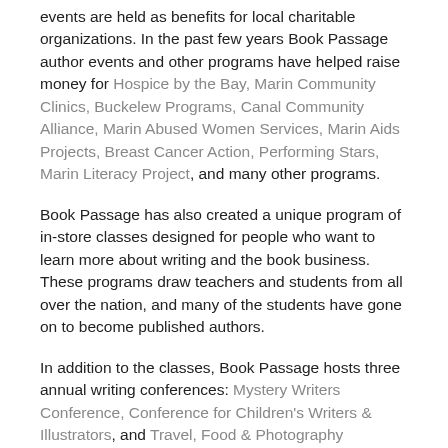events are held as benefits for local charitable organizations. In the past few years Book Passage author events and other programs have helped raise money for Hospice by the Bay, Marin Community Clinics, Buckelew Programs, Canal Community Alliance, Marin Abused Women Services, Marin Aids Projects, Breast Cancer Action, Performing Stars, Marin Literacy Project, and many other programs.
Book Passage has also created a unique program of in-store classes designed for people who want to learn more about writing and the book business. These programs draw teachers and students from all over the nation, and many of the students have gone on to become published authors.
In addition to the classes, Book Passage hosts three annual writing conferences: Mystery Writers Conference, Conference for Children's Writers & Illustrators, and Travel, Food & Photography Conference. These conferences have gained a world-wide reputation, drawing faculty and students from as far away as Brazil, Saudi Arabia, and Brunei.
Book Passage also reaches out beyond the area, trying to give the rest of the country a piece of the richness of the Bay...